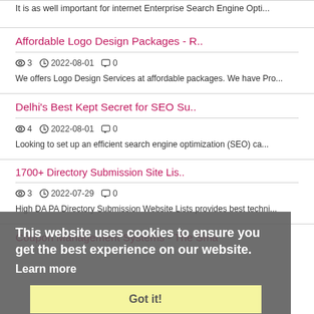It is as well important for internet Enterprise Search Engine Opti...
Affordable Logo Design Packages - R..
👁 3  🕐 2022-08-01  💬 0
We offers Logo Design Services at affordable packages. We have Pro...
Delhi's Best Kept Secret for SEO Su..
👁 4  🕐 2022-08-01  💬 0
Looking to set up an efficient search engine optimization (SEO) ca...
1700+ Directory Submission Site Lis..
👁 3  🕐 2022-07-29  💬 0
High DA PA Directory Submission Website Lists provides best techni...
Coupon Management Systems - The Sma
This website uses cookies to ensure you get the best experience on our website.
Learn more
Got it!